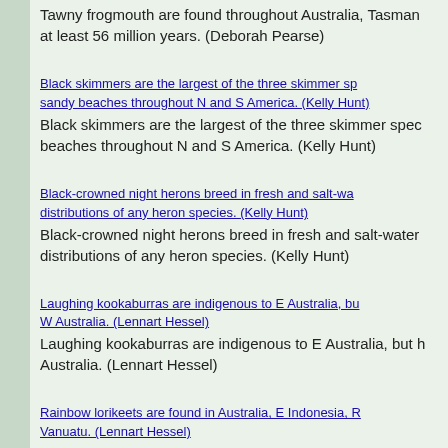Tawny frogmouth are found throughout Australia, Tasmania at least 56 million years. (Deborah Pearse)
[Figure (photo): Black skimmers are the largest of the three skimmer species, sandy beaches throughout N and S America. (Kelly Hunt)]
Black skimmers are the largest of the three skimmer species, beaches throughout N and S America. (Kelly Hunt)
[Figure (photo): Black-crowned night herons breed in fresh and salt-water, distributions of any heron species. (Kelly Hunt)]
Black-crowned night herons breed in fresh and salt-water distributions of any heron species. (Kelly Hunt)
[Figure (photo): Laughing kookaburras are indigenous to E Australia, but have been introduced to W Australia. (Lennart Hessel)]
Laughing kookaburras are indigenous to E Australia, but have been introduced to W Australia. (Lennart Hessel)
[Figure (photo): Rainbow lorikeets are found in Australia, E Indonesia, Vanuatu. (Lennart Hessel)]